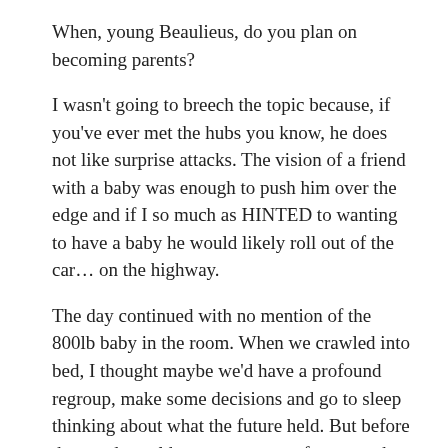When, young Beaulieus, do you plan on becoming parents?
I wasn't going to breech the topic because, if you've ever met the hubs you know, he does not like surprise attacks. The vision of a friend with a baby was enough to push him over the edge and if I so much as HINTED to wanting to have a baby he would likely roll out of the car… on the highway.
The day continued with no mention of the 800lb baby in the room. When we crawled into bed, I thought maybe we'd have a profound regroup, make some decisions and go to sleep thinking about what the future held. But before the words could even come out of my mouth, he spoke.
“Don’t even tell me you want one of those.”